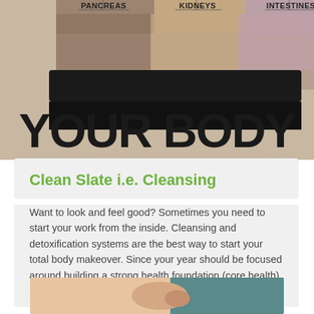[Figure (photo): Top portion of a human torso with colored overlay sections labeled PANCREAS, KIDNEYS, INTESTINES, and large stylized text 'YOUR BODY' below]
Clean Slate i.e. Cleansing
Want to look and feel good? Sometimes you need to start your work from the inside. Cleansing and detoxification systems are the best way to start your total body makeover. Since your year should be focused around building a strong health foundation (core health), the...
21 February, 2017
[Figure (photo): Close-up of a person pinching belly fat skin against a teal/skin-tone background]